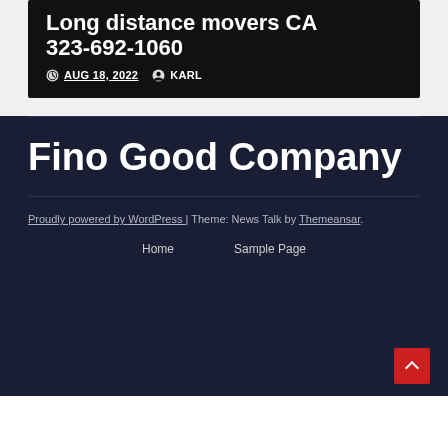Long distance movers CA 323-692-1060
AUG 18, 2022  KARL
Fino Good Company
Proudly powered by WordPress | Theme: News Talk by Themeansar.
Home  Sample Page